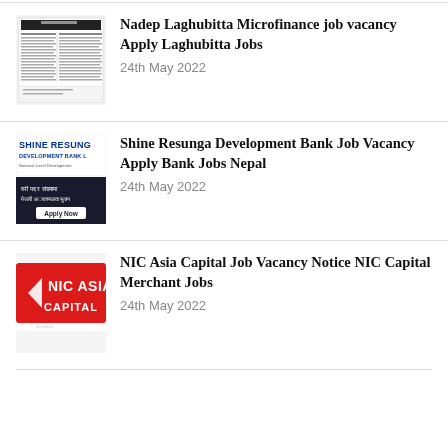[Figure (screenshot): Thumbnail of a document page for Nadep Laghubitta Microfinance job vacancy]
Nadep Laghubitta Microfinance job vacancy Apply Laghubitta Jobs
24th May 2022
[Figure (logo): Shine Resunga Development Bank logo with Nepali text and Apply Now button]
Shine Resunga Development Bank Job Vacancy Apply Bank Jobs Nepal
24th May 2022
[Figure (logo): NIC Asia Capital logo — red background with white text]
NIC Asia Capital Job Vacancy Notice NIC Capital Merchant Jobs
24th May 2022